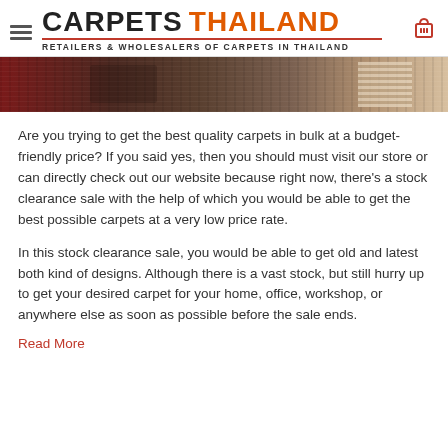CARPETS THAILAND — RETAILERS & WHOLESALERS OF CARPETS IN THAILAND
[Figure (photo): Banner image showing close-up of carpet textures in red, brown, and beige tones]
Are you trying to get the best quality carpets in bulk at a budget-friendly price? If you said yes, then you should must visit our store or can directly check out our website because right now, there's a stock clearance sale with the help of which you would be able to get the best possible carpets at a very low price rate.
In this stock clearance sale, you would be able to get old and latest both kind of designs. Although there is a vast stock, but still hurry up to get your desired carpet for your home, office, workshop, or anywhere else as soon as possible before the sale ends.
Read More